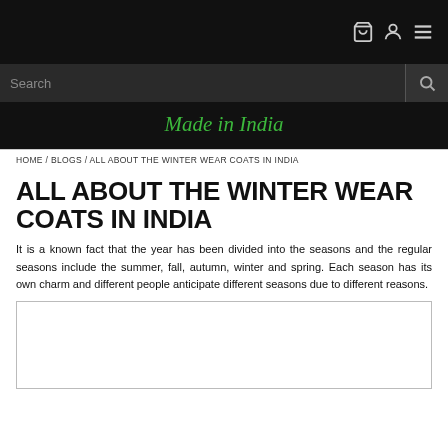Made in India
HOME / BLOGS / ALL ABOUT THE WINTER WEAR COATS IN INDIA
ALL ABOUT THE WINTER WEAR COATS IN INDIA
It is a known fact that the year has been divided into the seasons and the regular seasons include the summer, fall, autumn, winter and spring. Each season has its own charm and different people anticipate different seasons due to different reasons.
[Figure (photo): Image placeholder/article image (blank white rectangle with border)]